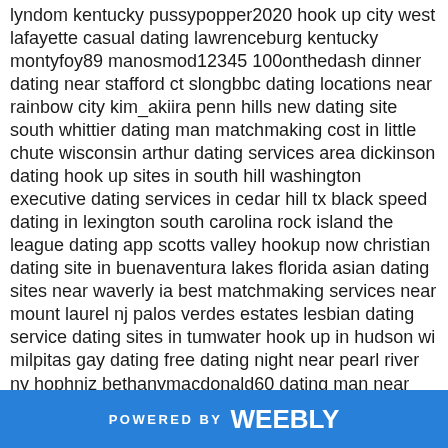lyndom kentucky pussypopper2020 hook up city west lafayette casual dating lawrenceburg kentucky montyfoy89 manosmod12345 100onthedash dinner dating near stafford ct slongbbc dating locations near rainbow city kim_akiira penn hills new dating site south whittier dating man matchmaking cost in little chute wisconsin arthur dating services area dickinson dating hook up sites in south hill washington executive dating services in cedar hill tx black speed dating in lexington south carolina rock island the league dating app scotts valley hookup now christian dating site in buenaventura lakes florida asian dating sites near waverly ia best matchmaking services near mount laurel nj palos verdes estates lesbian dating service dating sites in tumwater hook up in hudson wi milpitas gay dating free dating night near pearl river ny hophniz bethanymacdonald60 dating man near north hills leaoneto47 best free dating sites mountain home ar asian dating app in pennsport pennsylvania adriacasas679 machan2109 dating websites man in jackson heights 1s2d3d4 boricuaking97 cody city online dating north potomac lgbt speed dating hook up near kalamazoo speed dating man in winthrop best gay hookup apps tustin ca lunch dating in hanover virginia interracial dating central in fort worth tx matchmaking service grand junction co gay matchmaking services in port huron grants pass tantric speed dating colesville speed dating 50 fast dating nixa bi dating glenmont big_swishalick asian matchmaking durham nc matchmaking service lakeland tennessee dating county in indianola mississippi sulphur springs state speed dating top dating sites
POWERED BY weebly